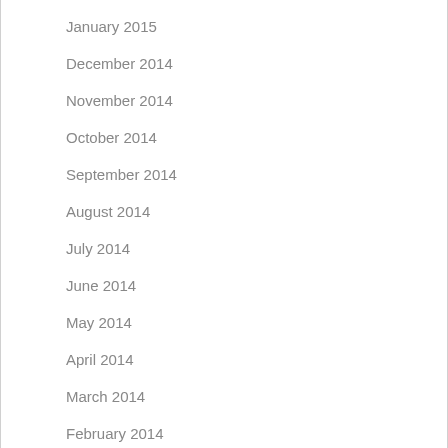January 2015
December 2014
November 2014
October 2014
September 2014
August 2014
July 2014
June 2014
May 2014
April 2014
March 2014
February 2014